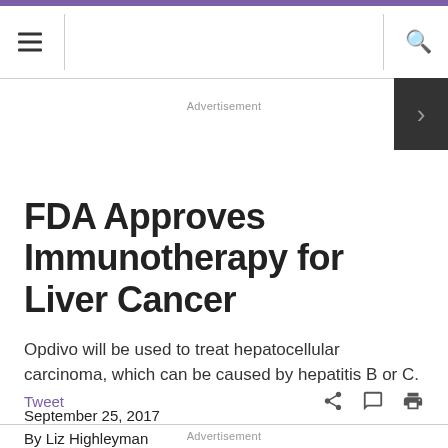FDA Approves Immunotherapy for Liver Cancer
FDA Approves Immunotherapy for Liver Cancer
Opdivo will be used to treat hepatocellular carcinoma, which can be caused by hepatitis B or C.
September 25, 2017
By Liz Highleyman
Tweet
Advertisement
Advertisement